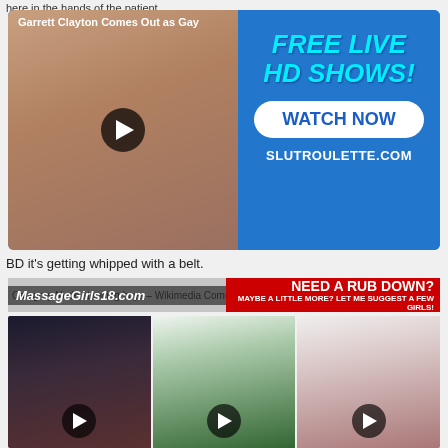here in the hands of the patient.
[Figure (screenshot): Advertisement banner with video thumbnail on left and 'FREE LIVE HD SHOWS! WATCH NOW SLUTROULETTE.COM' on right]
BD it's getting whipped with a belt.
[Figure (screenshot): Category:Nude standing boys - Wikimedia Commons overlaid with massage and rub-down advertisements]
[Figure (screenshot): Three adult video thumbnail images with play buttons]